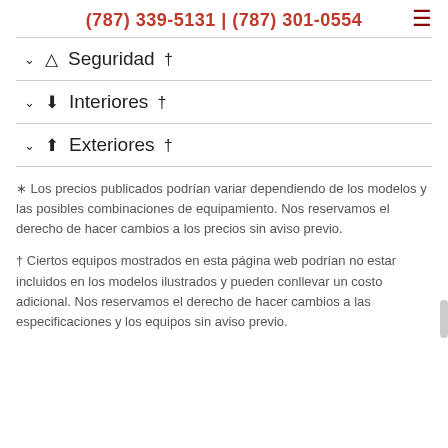(787) 339-5131 | (787) 301-0554
Seguridad †
Interiores †
Exteriores †
∗ Los precios publicados podrían variar dependiendo de los modelos y las posibles combinaciones de equipamiento. Nos reservamos el derecho de hacer cambios a los precios sin aviso previo.
† Ciertos equipos mostrados en esta página web podrían no estar incluidos en los modelos ilustrados y pueden conllevar un costo adicional. Nos reservamos el derecho de hacer cambios a las especificaciones y los equipos sin aviso previo.